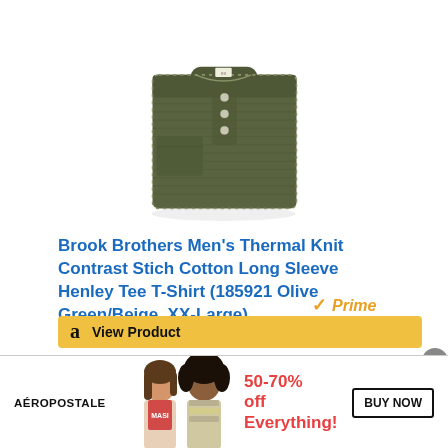[Figure (photo): Folded olive green men's henley long sleeve thermal knit shirt, displayed against a white background]
Brook Brothers Men's Thermal Knit Contrast Stich Cotton Long Sleeve Henley Tee T-Shirt (185921 Olive Green/Beige, XX-Large)
[Figure (logo): Amazon Prime badge with orange checkmark and italic Prime text]
[Figure (screenshot): Yellow Amazon View Product button with Amazon logo]
[Figure (infographic): Aeropostale advertisement banner: two female models, text '50-70% off Everything!', BUY NOW button, and X close button]